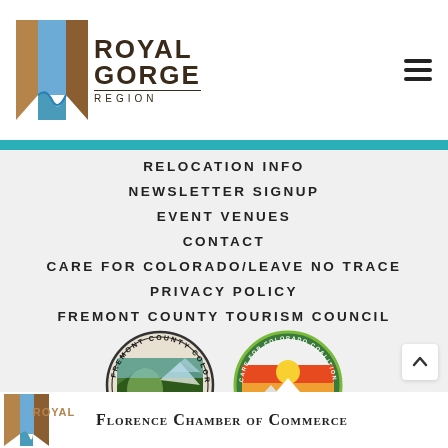[Figure (logo): Royal Gorge Region logo with canyon icon and text]
RELOCATION INFO
NEWSLETTER SIGNUP
EVENT VENUES
CONTACT
CARE FOR COLORADO/LEAVE NO TRACE
PRIVACY POLICY
FREMONT COUNTY TOURISM COUNCIL
[Figure (logo): Fremont County Colorado seal, EST. 1861]
[Figure (logo): Care for Colorado Coalition 2020 Stewardship Member badge]
[Figure (logo): Royal Gorge Region logo partial]
Florence Chamber of Commerce